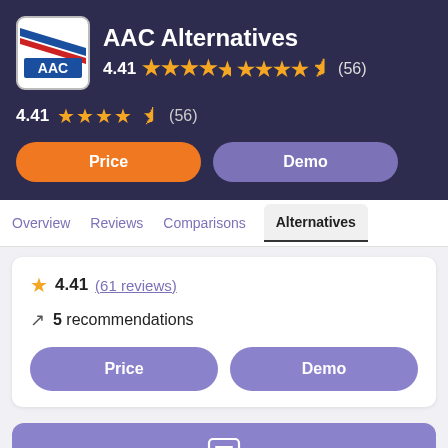AAC Alternatives
4.41 ★★★★½ (56)
Price
Demo
Overview  Reviews  Comparisons  Alternatives
4.41 (61 reviews)
5 recommendations
Price
Demo
Chat